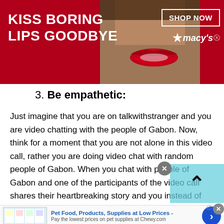[Figure (photo): Macy's advertisement banner: red background with woman's face showing red lips, text 'KISS BORING LIPS GOODBYE', 'SHOP NOW' button, and Macy's star logo]
3. Be empathetic:
Just imagine that you are on talkwithstranger and you are video chatting with the people of Gabon. Now, think for a moment that you are not alone in this video call, rather you are doing video chat with random people of Gabon. When you chat with people of Gabon and one of the participants of the video call shares their heartbreaking story and you instead of consoling them, ridicule and make fun of them. What will happen?
[Figure (photo): Bottom advertisement for Chewy.com: Pet Food, Products, Supplies at Low Prices - with product thumbnails and navigation arrow button]